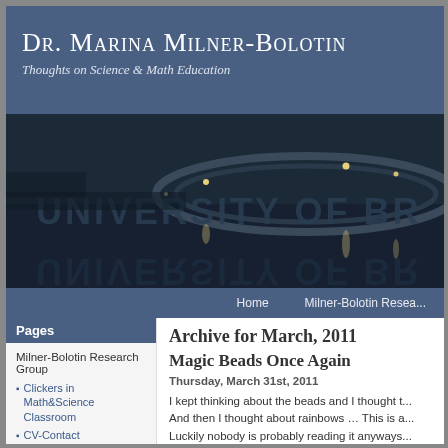Dr. Marina Milner-Bolotin
Thoughts on Science & Math Education
[Figure (photo): Nighttime photograph of University of British Columbia campus with reflective water feature and large letters spelling UNIVERSITY OF BR...]
Home    Milner-Bolotin Resea...
Pages
Milner-Bolotin Research Group
Clickers in Math&Science Classroom
CV-Contact
Graduate Students
HP Project: UBC-Ryerson
Research Projects
Archive for March, 2011
Magic Beads Once Again
Thursday, March 31st, 2011
I kept thinking about the beads and I thought t... And then I thought about rainbows … This is a... Luckily nobody is probably reading it anyways...